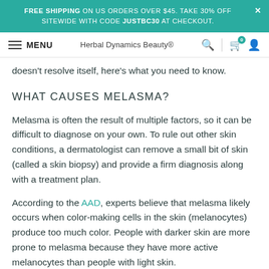FREE SHIPPING ON US ORDERS OVER $45. TAKE 30% OFF SITEWIDE WITH CODE JUSTBC30 AT CHECKOUT.
MENU | Herbal Dynamics Beauty® | Search | Cart 0 | Account
doesn't resolve itself, here's what you need to know.
WHAT CAUSES MELASMA?
Melasma is often the result of multiple factors, so it can be difficult to diagnose on your own. To rule out other skin conditions, a dermatologist can remove a small bit of skin (called a skin biopsy) and provide a firm diagnosis along with a treatment plan.
According to the AAD, experts believe that melasma likely occurs when color-making cells in the skin (melanocytes) produce too much color. People with darker skin are more prone to melasma because they have more active melanocytes than people with light skin.